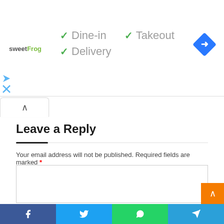[Figure (screenshot): Top banner with sweetFrog logo, service checkmarks (Dine-in, Takeout, Delivery) in grey with green checkmarks, and a blue navigation diamond icon on the right.]
Leave a Reply
Your email address will not be published. Required fields are marked *
[Figure (screenshot): Empty comment text area input box]
[Figure (screenshot): Social share bar with Facebook, Twitter, WhatsApp, and Telegram buttons at the bottom]